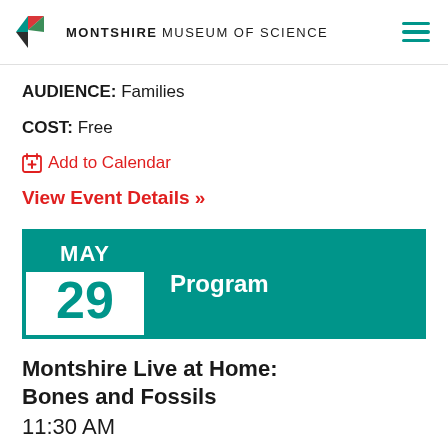MONTSHIRE MUSEUM OF SCIENCE
AUDIENCE: Families
COST: Free
Add to Calendar
View Event Details >>
[Figure (infographic): Calendar icon showing MAY 29 date badge with teal color scheme, beside a teal banner labeled 'Program']
Montshire Live at Home: Bones and Fossils
11:30 AM
Learn about the lives of animals and the